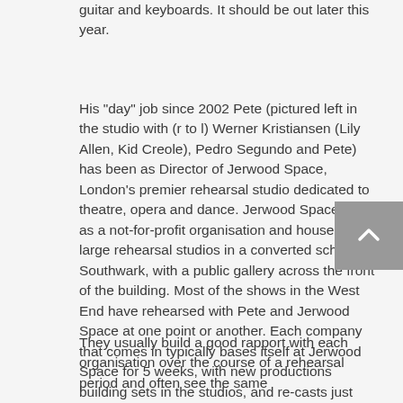guitar and keyboards. It should be out later this year.
His "day" job since 2002 Pete (pictured left in the studio with (r to l) Werner Kristiansen (Lily Allen, Kid Creole), Pedro Segundo and Pete) has been as Director of Jerwood Space, London's premier rehearsal studio dedicated to theatre, opera and dance. Jerwood Space runs as a not-for-profit organisation and houses 7 large rehearsal studios in a converted school in Southwark, with a public gallery across the front of the building. Most of the shows in the West End have rehearsed with Pete and Jerwood Space at one point or another. Each company that comes in typically bases itself at Jerwood Space for 5 weeks, with new productions building sets in the studios, and re-casts just bringing in props and marking-up the floor.
They usually build a good rapport with each organisation over the course of a rehearsal period and often see the same